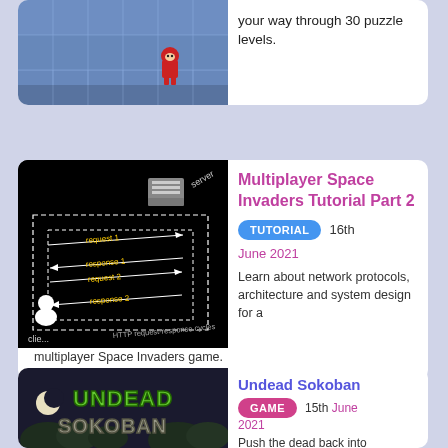[Figure (screenshot): Partial game screenshot showing a pixel art level with ice/stone tiles and a character in red]
your way through 30 puzzle levels.
[Figure (illustration): Diagram on black background showing client-server HTTP request-response cycles with arrows]
Multiplayer Space Invaders Tutorial Part 2
TUTORIAL  16th June 2021
Learn about network protocols, architecture and system design for a multiplayer Space Invaders game.
[Figure (screenshot): Undead Sokoban game title screen with green and gray styled text on dark background]
Undead Sokoban
GAME  15th June 2021
Push the dead back into